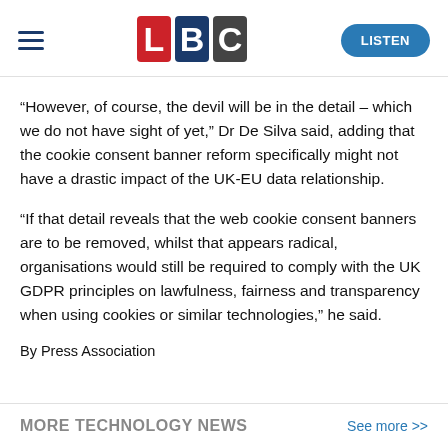[Figure (logo): LBC radio logo with red L, blue B, grey C tiles, and hamburger menu icon on left, LISTEN button on right]
“However, of course, the devil will be in the detail – which we do not have sight of yet,” Dr De Silva said, adding that the cookie consent banner reform specifically might not have a drastic impact of the UK-EU data relationship.
“If that detail reveals that the web cookie consent banners are to be removed, whilst that appears radical, organisations would still be required to comply with the UK GDPR principles on lawfulness, fairness and transparency when using cookies or similar technologies,” he said.
By Press Association
MORE TECHNOLOGY NEWS
See more >>